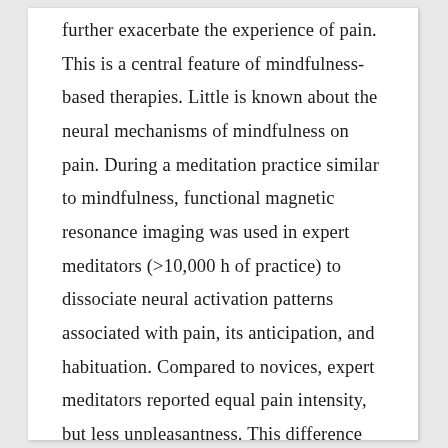further exacerbate the experience of pain. This is a central feature of mindfulness-based therapies. Little is known about the neural mechanisms of mindfulness on pain. During a meditation practice similar to mindfulness, functional magnetic resonance imaging was used in expert meditators (>10,000 h of practice) to dissociate neural activation patterns associated with pain, its anticipation, and habituation. Compared to novices, expert meditators reported equal pain intensity, but less unpleasantness. This difference was associated with enhanced activity in the dorsal anterior insula (aI), and the anterior mid-cingulate (aMCC) the